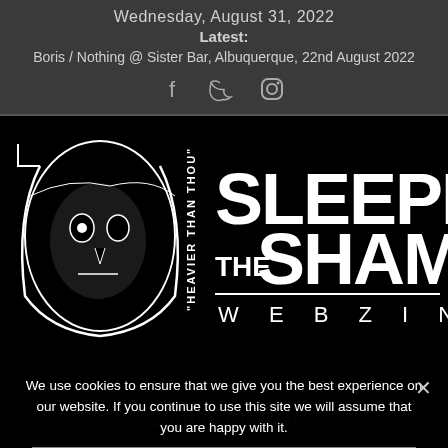Wednesday, August 31, 2022
Latest:
Boris / Nothing @ Sister Bar, Albuquerque, 22nd August 2022
[Figure (logo): The Sleeping Shaman Webzine logo — large white bold text 'SLEEPING SHAMAN' with 'THE' and 'WEBZINE' and rotated text 'Heavier Than Thou' alongside a hooded skull illustration, on black background]
We use cookies to ensure that we give you the best experience on our website. If you continue to use this site we will assume that you are happy with it.
listen & like
OK